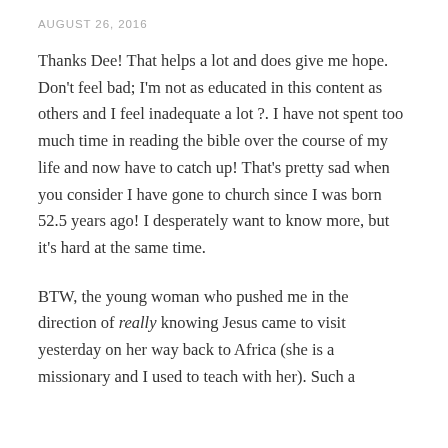AUGUST 26, 2016
Thanks Dee! That helps a lot and does give me hope. Don't feel bad; I'm not as educated in this content as others and I feel inadequate a lot ?. I have not spent too much time in reading the bible over the course of my life and now have to catch up! That's pretty sad when you consider I have gone to church since I was born 52.5 years ago! I desperately want to know more, but it's hard at the same time.
BTW, the young woman who pushed me in the direction of really knowing Jesus came to visit yesterday on her way back to Africa (she is a missionary and I used to teach with her). Such a